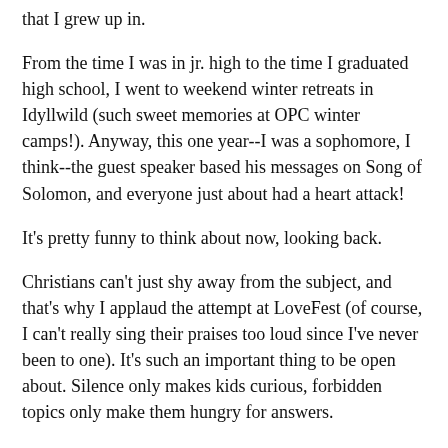that I grew up in.
From the time I was in jr. high to the time I graduated high school, I went to weekend winter retreats in Idyllwild (such sweet memories at OPC winter camps!). Anyway, this one year--I was a sophomore, I think--the guest speaker based his messages on Song of Solomon, and everyone just about had a heart attack!
It's pretty funny to think about now, looking back.
Christians can't just shy away from the subject, and that's why I applaud the attempt at LoveFest (of course, I can't really sing their praises too loud since I've never been to one). It's such an important thing to be open about. Silence only makes kids curious, forbidden topics only make them hungry for answers.
People talk about purity, and how kids need to be "good" and wait until marriage. What they don't talk about, and what I think kids don't understand is how hard remaining pure actually is.